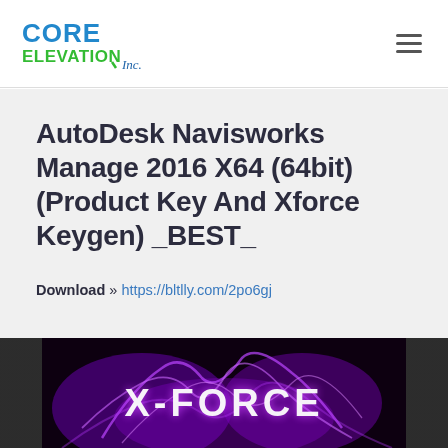Core Elevation Inc. [logo]
AutoDesk Navisworks Manage 2016 X64 (64bit) (Product Key And Xforce Keygen) _BEST_
Download » https://bltlly.com/2po6gj
[Figure (screenshot): X-Force Keygen application screenshot with purple lightning/smoke graphic and X-FORCE text logo, surrounded by code text on left and right sides]